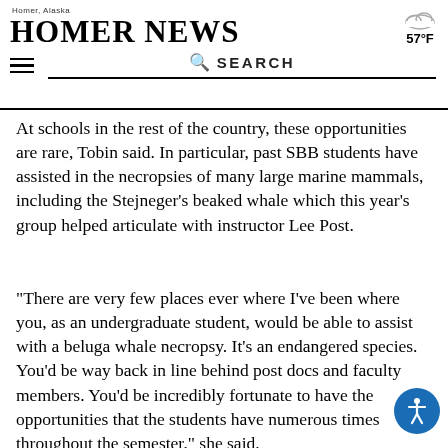Homer News — Homer, Alaska — 57°F
At schools in the rest of the country, these opportunities are rare, Tobin said. In particular, past SBB students have assisted in the necropsies of many large marine mammals, including the Stejneger's beaked whale which this year's group helped articulate with instructor Lee Post.
“There are very few places ever where I’ve been where you, as an undergraduate student, would be able to assist with a beluga whale necropsy. It’s an endangered species. You’d be way back in line behind post docs and faculty members. You’d be incredibly fortunate to have the opportunities that the students have numerous times throughout the semester,” she said.